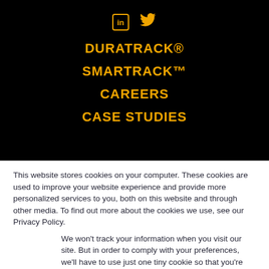[Figure (other): Social media icons: LinkedIn (in) and Twitter (bird) in gold/yellow on black background]
DURATRACK®
SMARTRACK™
CAREERS
CASE STUDIES
This website stores cookies on your computer. These cookies are used to improve your website experience and provide more personalized services to you, both on this website and through other media. To find out more about the cookies we use, see our Privacy Policy.
We won't track your information when you visit our site. But in order to comply with your preferences, we'll have to use just one tiny cookie so that you're not asked to make this choice again.